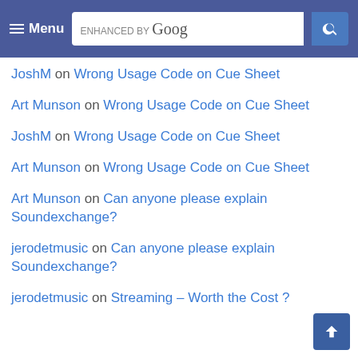Menu | enhanced by Google [search]
JoshM on Wrong Usage Code on Cue Sheet
Art Munson on Wrong Usage Code on Cue Sheet
JoshM on Wrong Usage Code on Cue Sheet
Art Munson on Wrong Usage Code on Cue Sheet
Art Munson on Can anyone please explain Soundexchange?
jerodetmusic on Can anyone please explain Soundexchange?
jerodetmusic on Streaming – Worth the Cost ?